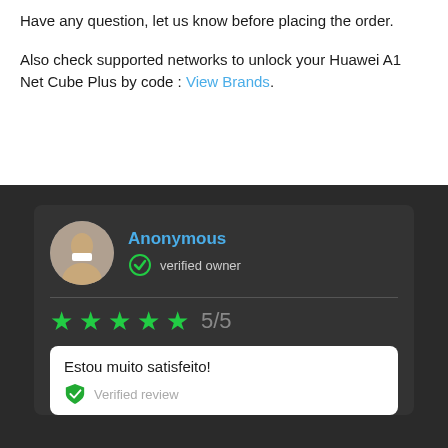Have any question, let us know before placing the order.
Also check supported networks to unlock your Huawei A1 Net Cube Plus by code : View Brands.
Anonymous
verified owner
5/5
Estou muito satisfeito!
Verified review
Verified review